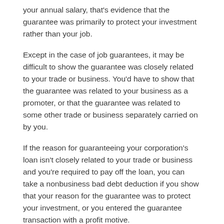your annual salary, that's evidence that the guarantee was primarily to protect your investment rather than your job.
Except in the case of job guarantees, it may be difficult to show the guarantee was closely related to your trade or business. You'd have to show that the guarantee was related to your business as a promoter, or that the guarantee was related to some other trade or business separately carried on by you.
If the reason for guaranteeing your corporation's loan isn't closely related to your trade or business and you're required to pay off the loan, you can take a nonbusiness bad debt deduction if you show that your reason for the guarantee was to protect your investment, or you entered the guarantee transaction with a profit motive.
Additionally, to satisfying the above requirements, a business or nonbusiness bad debt is deductible only